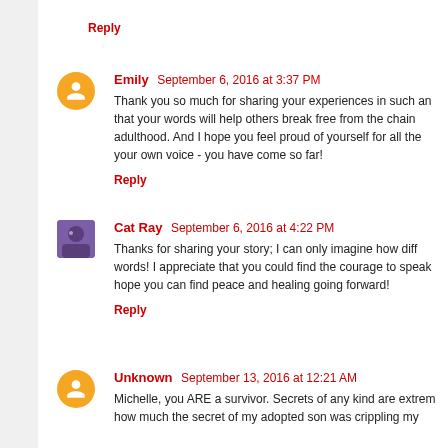Reply
Emily September 6, 2016 at 3:37 PM
Thank you so much for sharing your experiences in such an... that your words will help others break free from the chain... adulthood. And I hope you feel proud of yourself for all the... your own voice - you have come so far!
Reply
Cat Ray September 6, 2016 at 4:22 PM
Thanks for sharing your story; I can only imagine how diff... words! I appreciate that you could find the courage to speak... hope you can find peace and healing going forward!
Reply
Unknown September 13, 2016 at 12:21 AM
Michelle, you ARE a survivor. Secrets of any kind are extrem... how much the secret of my adopted son was crippling my...